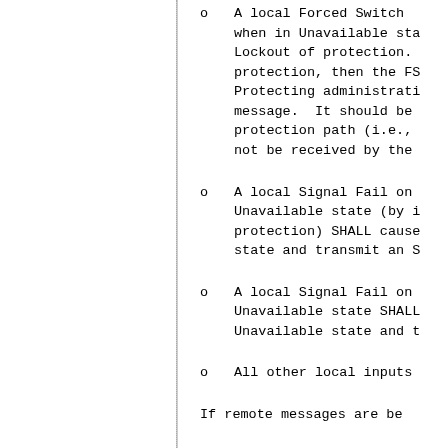A local Forced Switch when in Unavailable state (by Lockout of protection. protection, then the FS Protecting administration message. It should be protection path (i.e., not be received by the
A local Signal Fail on Unavailable state (by protection) SHALL cause state and transmit an S
A local Signal Fail on Unavailable state SHALL Unavailable state and t
All other local inputs
If remote messages are be